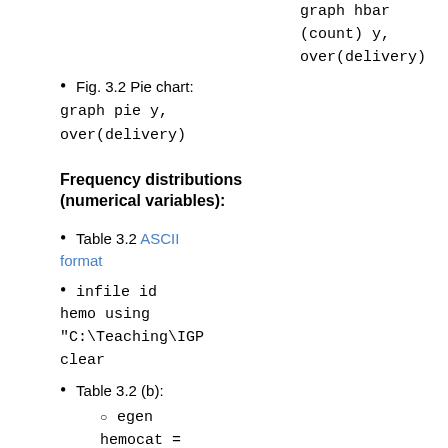graph hbar (count) y, over(delivery)
Fig. 3.2 Pie chart: graph pie y, over(delivery)
Frequency distributions (numerical variables):
Table 3.2 ASCII format
infile id hemo using "C:\Teaching\IGP" clear
Table 3.2 (b): eigen hemocat = cut(hemo), at(8, 9…)